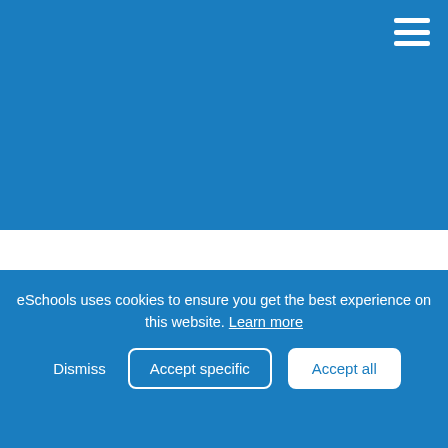[Figure (screenshot): Blue header background with hamburger menu icon in top right corner]
Pupil Voice
Pupil Voice
eSchools uses cookies to ensure you get the best experience on this website. Learn more
Dismiss   Accept specific   Accept all